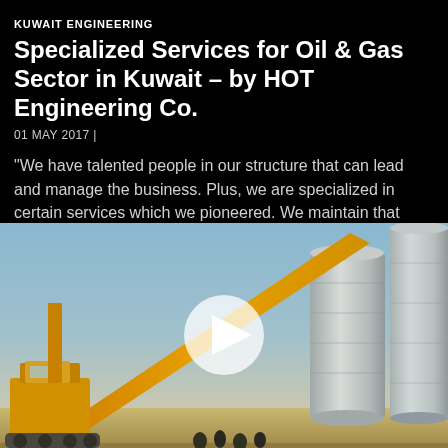KUWAIT ENGINEERING
Specialized Services for Oil & Gas Sector in Kuwait – by HOT Engineering Co.
01 MAY 2017 |
"We have talented people in our structure that can lead and manage the business. Plus, we are specialized in certain services which we pioneered. We maintain that advantage. We also have our Parent Continue
[Figure (photo): Industrial scene showing a yellow crane and large silver cylindrical tanks/silos at an oil and gas facility in Kuwait, with a play button overlay indicating a video]